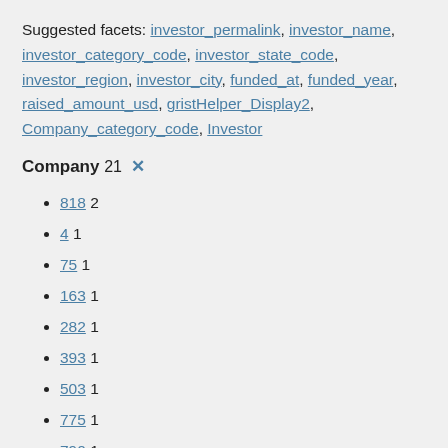Suggested facets: investor_permalink, investor_name, investor_category_code, investor_state_code, investor_region, investor_city, funded_at, funded_year, raised_amount_usd, gristHelper_Display2, Company_category_code, Investor
Company 21 ✕
818 2
4 1
75 1
163 1
282 1
393 1
503 1
775 1
790 1
1034 1
1059 1